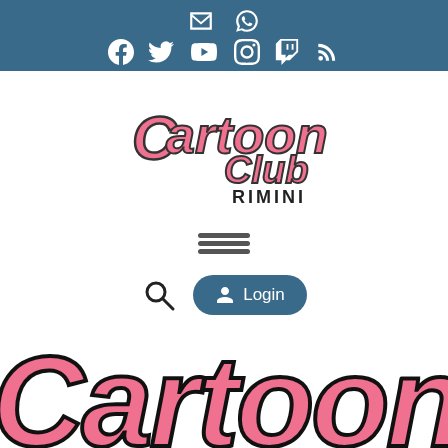[Figure (other): Dark teal/blue top navigation bar with social media icons: email, WhatsApp on top row; Facebook, Twitter, YouTube, Instagram, Twitch, RSS on bottom row]
[Figure (logo): Cartoon Club Rimini logo in pink stylized lettering with black outlines]
[Figure (other): Hamburger menu icon (three horizontal lines)]
[Figure (other): Search icon (magnifying glass) and Login button with person icon]
[Figure (illustration): Large partial Cartoon Club logo text in pink with black outlines, cropped at bottom of page showing only 'CARTOON']